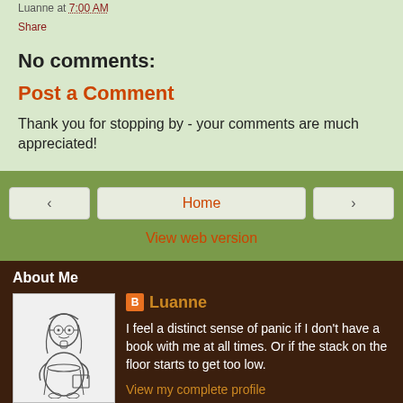Luanne at 7:00 AM
Share
No comments:
Post a Comment
Thank you for stopping by - your comments are much appreciated!
Home
View web version
About Me
[Figure (illustration): Cartoon drawing of a woman with glasses holding a book]
Luanne
I feel a distinct sense of panic if I don't have a book with me at all times. Or if the stack on the floor starts to get too low.
View my complete profile